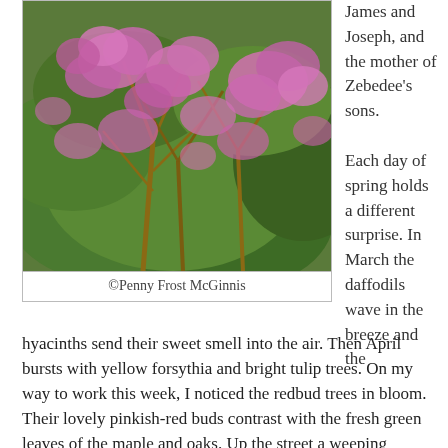[Figure (photo): Flowering redbud tree with pink-purple blossoms against green foliage background]
©Penny Frost McGinnis
James and Joseph, and the mother of Zebedee's sons.
Each day of spring holds a different surprise. In March the daffodils wave in the breeze and the hyacinths send their sweet smell into the air. Then April bursts with yellow forsythia and bright tulip trees. On my way to work this week, I noticed the redbud trees in bloom. Their lovely pinkish-red buds contrast with the fresh green leaves of the maple and oaks. Up the street a weeping cherry's petals hang like a pink cloud. In the thicket the dogwood's white petals spread. God created beautiful blossoms for the season.
As I've enjoyed the colors of spring, I couldn't help but think of Jesus. As pretty as the redbuds are, the dark red color beneath the pink reminds me of the blood Jesus shed. The dogwood with the